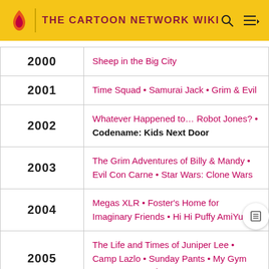THE CARTOON NETWORK WIKI
| Year | Shows |
| --- | --- |
| 2000 | Sheep in the Big City |
| 2001 | Time Squad • Samurai Jack • Grim & Evil |
| 2002 | Whatever Happened to… Robot Jones? • Codename: Kids Next Door |
| 2003 | The Grim Adventures of Billy & Mandy • Evil Con Carne • Star Wars: Clone Wars |
| 2004 | Megas XLR • Foster's Home for Imaginary Friends • Hi Hi Puffy AmiYumi |
| 2005 | The Life and Times of Juniper Lee • Camp Lazlo • Sunday Pants • My Gym Partner's a Monkey • Ben 10 |
| 2006 | Squirrel Boy • Class of 3000 |